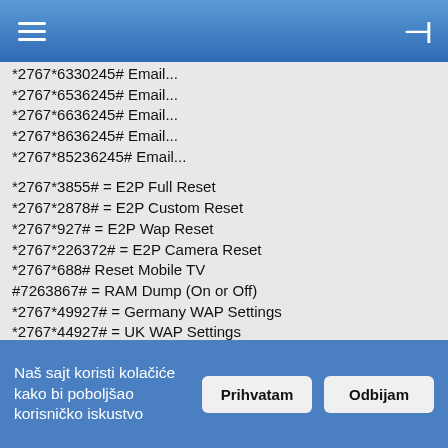≡  ⊣
*2767*6330245# Email...
*2767*6536245# Email...
*2767*6636245# Email...
*2767*8636245# Email...
*2767*85236245# Email...
*2767*3855# = E2P Full Reset
*2767*2878# = E2P Custom Reset
*2767*927# = E2P Wap Reset
*2767*226372# = E2P Camera Reset
*2767*688# Reset Mobile TV
#7263867# = RAM Dump (On or Off)
*2767*49927# = Germany WAP Settings
*2767*44927# = UK WAP Settings
*2767*31927# = Netherlands WAP Settings
*2767*420927# = Czech WAP Settings
*2767*43927# = Austria WAP Settings
*2767*39927# = Italy WAP Settings
*2767*33927# = France WAP Settings
*2767*351927# = Portugal WAP Settings
Naš sajt koristi kolačiće kako bi poboljšao korisničko iskustvo  Prihvatam  Odbijam